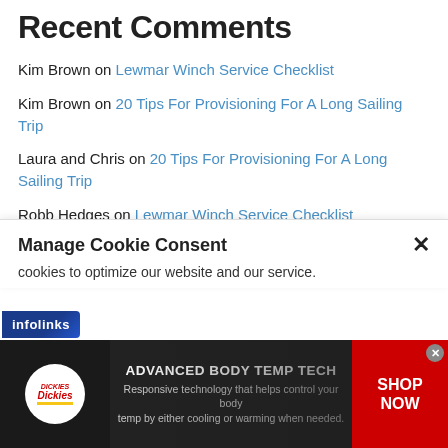Recent Comments
Kim Brown on Lewmar Winch Service Checklist
Kim Brown on 20 Tips For Provisioning For A Long Sailing Trip
Laura and Chris on 20 Tips For Provisioning For A Long Sailing Trip
Robb Hedges on Lewmar Winch Service Checklist
Kim Brown on Quickest & Easiest Man Overboard Procedure
Manage Cookie Consent
cookies to optimize our website and our service.
[Figure (screenshot): Dickies advertisement banner: ADVANCED BODY TEMP TECH - Responsive technology that helps control your body temp by either cooling or warming when needed. SHOP NOW button on red background. Dickies logo on left.]